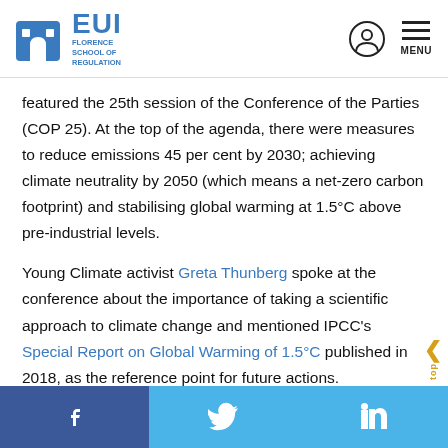EUI Florence School of Regulation
featured the 25th session of the Conference of the Parties (COP 25). At the top of the agenda, there were measures to reduce emissions 45 per cent by 2030; achieving climate neutrality by 2050 (which means a net-zero carbon footprint) and stabilising global warming at 1.5°C above pre-industrial levels.
Young Climate activist Greta Thunberg spoke at the conference about the importance of taking a scientific approach to climate change and mentioned IPCC's Special Report on Global Warming of 1.5°C published in 2018, as the reference point for future actions.
Social media links: Facebook, Twitter, LinkedIn